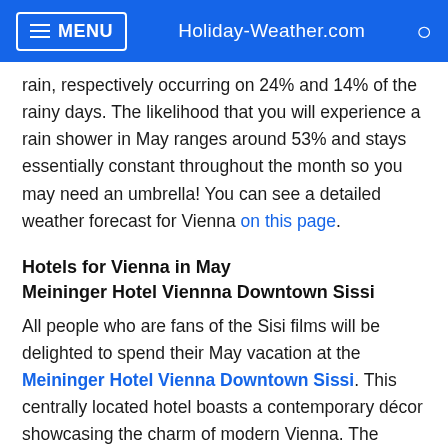MENU   Holiday-Weather.com
rain, respectively occurring on 24% and 14% of the rainy days. The likelihood that you will experience a rain shower in May ranges around 53% and stays essentially constant throughout the month so you may need an umbrella! You can see a detailed weather forecast for Vienna on this page.
Hotels for Vienna in May
Meininger Hotel Viennna Downtown Sissi
All people who are fans of the Sisi films will be delighted to spend their May vacation at the Meininger Hotel Vienna Downtown Sissi. This centrally located hotel boasts a contemporary décor showcasing the charm of modern Vienna. The hotel's neighbourhood is dotted with cozy coffee bars, great